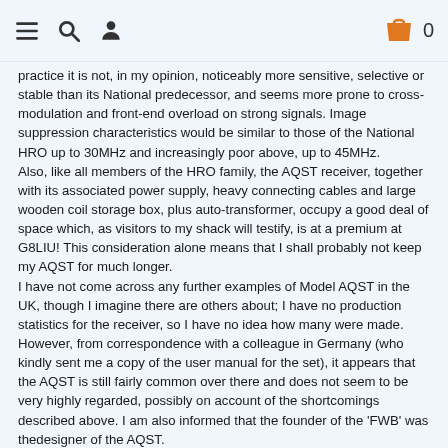≡ 🔍 👤  🛒 0
practice it is not, in my opinion, noticeably more sensitive, selective or stable than its National predecessor, and seems more prone to cross-modulation and front-end overload on strong signals. Image suppression characteristics would be similar to those of the National HRO up to 30MHz and increasingly poor above, up to 45MHz.
Also, like all members of the HRO family, the AQST receiver, together with its associated power supply, heavy connecting cables and large wooden coil storage box, plus auto-transformer, occupy a good deal of space which, as visitors to my shack will testify, is at a premium at G8LIU! This consideration alone means that I shall probably not keep my AQST for much longer.
I have not come across any further examples of Model AQST in the UK, though I imagine there are others about; I have no production statistics for the receiver, so I have no idea how many were made. However, from correspondence with a colleague in Germany (who kindly sent me a copy of the user manual for the set), it appears that the AQST is still fairly common over there and does not seem to be very highly regarded, possibly on account of the shortcomings described above. I am also informed that the founder of the 'FWB' was thedesigner of the AQST.
AQST principal changes
(1) A new style 'Slingerland' contacts, the contacts consist of a...